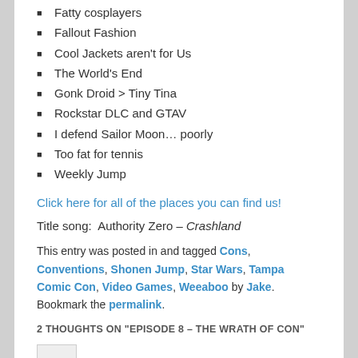Fatty cosplayers
Fallout Fashion
Cool Jackets aren't for Us
The World's End
Gonk Droid > Tiny Tina
Rockstar DLC and GTAV
I defend Sailor Moon… poorly
Too fat for tennis
Weekly Jump
Click here for all of the places you can find us!
Title song:  Authority Zero – Crashland
This entry was posted in and tagged Cons, Conventions, Shonen Jump, Star Wars, Tampa Comic Con, Video Games, Weeaboo by Jake. Bookmark the permalink.
2 THOUGHTS ON "EPISODE 8 – THE WRATH OF CON"